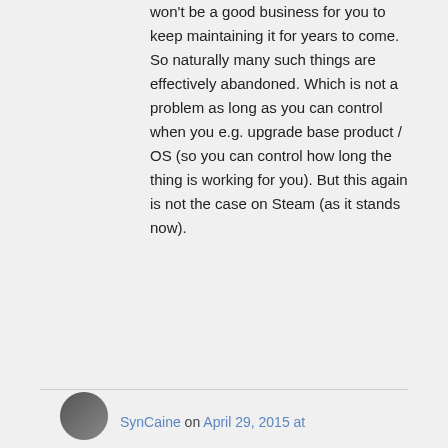won't be a good business for you to keep maintaining it for years to come. So naturally many such things are effectively abandoned. Which is not a problem as long as you can control when you e.g. upgrade base product / OS (so you can control how long the thing is working for you). But this again is not the case on Steam (as it stands now).
SynCaine on April 29, 2015 at